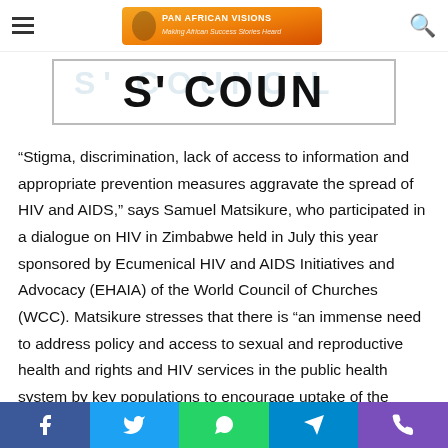Pan African Visions - Making African Success Stories Heard
[Figure (screenshot): Partial banner image showing large bold text reading 'S' COUN' with a watermark in the background, bordered by a rectangular frame]
“Stigma, discrimination, lack of access to information and appropriate prevention measures aggravate the spread of HIV and AIDS,” says Samuel Matsikure, who participated in a dialogue on HIV in Zimbabwe held in July this year sponsored by Ecumenical HIV and AIDS Initiatives and Advocacy (EHAIA) of the World Council of Churches (WCC). Matsikure stresses that there is “an immense need to address policy and access to sexual and reproductive health and rights and HIV services in the public health system by key populations to encourage uptake of the services.” Matsikure works with the network called Gays and Lesbians of Zimbabwe (GALZ) in Harare. The GALZ formed in 1990 advocates for the recognition and...
Social share bar: Facebook, Twitter, WhatsApp, Telegram, Phone